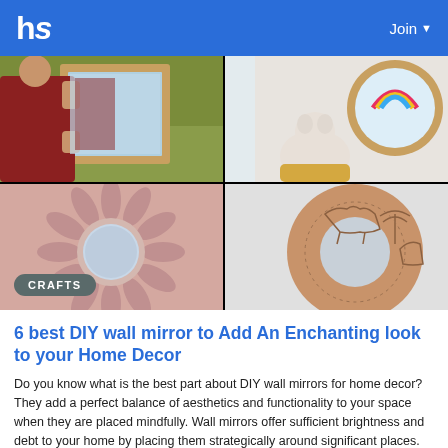hs  Join
[Figure (photo): Grid of four DIY wall mirror photos: top-left shows a person in red holding a wooden framed mirror outdoors; top-right shows a round wooden mirror on a wall with a stuffed animal and rainbow design; bottom-left shows a pink sunburst round mirror with CRAFTS badge; bottom-right shows a terracotta/tan round mirror with animal engravings.]
6 best DIY wall mirror to Add An Enchanting look to your Home Decor
Do you know what is the best part about DIY wall mirrors for home decor? They add a perfect balance of aesthetics and functionality to your space when they are placed mindfully. Wall mirrors offer sufficient brightness and debt to your home by placing them strategically around significant places. Are